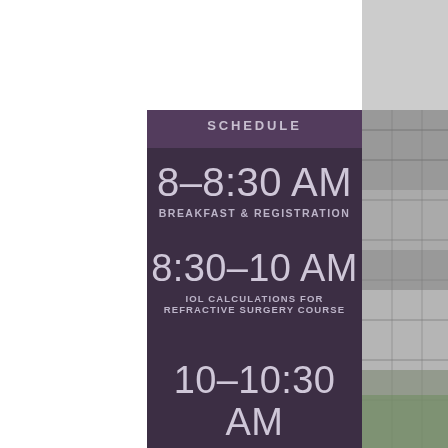SCHEDULE
8-8:30 AM
BREAKFAST & REGISTRATION
8:30-10 AM
IOL CALCULATIONS FOR REFRACTIVE SURGERY COURSE
10-10:30 AM
AM BREAK